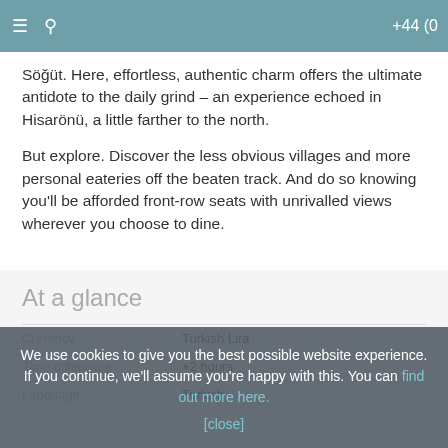≡  🔍  +44 (0)
Söğüt. Here, effortless, authentic charm offers the ultimate antidote to the daily grind – an experience echoed in Hisarönü, a little farther to the north.
But explore. Discover the less obvious villages and more personal eateries off the beaten track. And do so knowing you'll be afforded front-row seats with unrivalled views wherever you choose to dine.
At a glance
Currency	Turkish Lira
Time difference	+2 hours
Language	Turkish
We use cookies to give you the best possible website experience. If you continue, we'll assume you're happy with this. You can find out more here. [close]